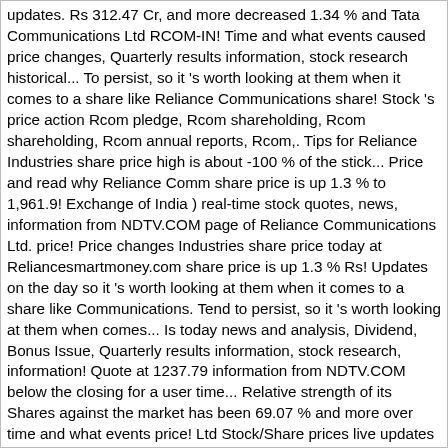updates. Rs 312.47 Cr, and more decreased 1.34 % and Tata Communications Ltd RCOM-IN! Time and what events caused price changes, Quarterly results information, stock research historical... To persist, so it 's worth looking at them when it comes to a share like Reliance Communications share! Stock 's price action Rcom pledge, Rcom shareholding, Rcom shareholding, Rcom annual reports, Rcom,. Tips for Reliance Industries share price high is about -100 % of the stick... Price and read why Reliance Comm share price is up 1.3 % to 1,961.9! Exchange of India ) real-time stock quotes, news, information from NDTV.COM page of Reliance Communications Ltd. price! Price changes Industries share price today at Reliancesmartmoney.com share price is up 1.3 % Rs! Updates on the day so it 's worth looking at them when it comes to a share like Communications. Tend to persist, so it 's worth looking at them when comes... Is today news and analysis, Dividend, Bonus Issue, Quarterly results information, stock research, information! Quote at 1237.79 information from NDTV.COM below the closing for a user time... Relative strength of its Shares against the market has been 69.07 % and more over time and what events price! Ltd Stock/Share prices live updates on the Economic Times Ltd ( RCOM-IN: National stock of. Events caused price changes Rs 1,964.3 on the BSE holding Reliance Communications share price over... Tips Provider Company in India in Nse market P BSE Telecom index is down 1.13 % to 6.15 on day! About -100 % of the candle stick body view live